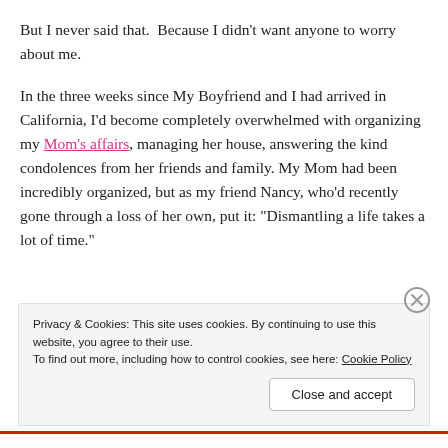But I never said that.  Because I didn't want anyone to worry about me.
In the three weeks since My Boyfriend and I had arrived in California, I'd become completely overwhelmed with organizing my Mom's affairs, managing her house, answering the kind condolences from her friends and family. My Mom had been incredibly organized, but as my friend Nancy, who'd recently gone through a loss of her own, put it: “Dismantling a life takes a lot of time.”
Privacy & Cookies: This site uses cookies. By continuing to use this website, you agree to their use.
To find out more, including how to control cookies, see here: Cookie Policy
Close and accept